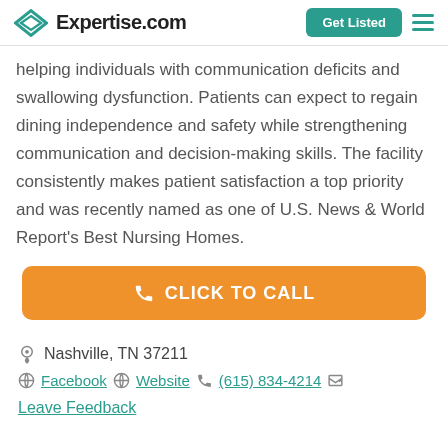Expertise.com | Get Listed
helping individuals with communication deficits and swallowing dysfunction. Patients can expect to regain dining independence and safety while strengthening communication and decision-making skills. The facility consistently makes patient satisfaction a top priority and was recently named as one of U.S. News & World Report's Best Nursing Homes.
[Figure (other): Orange button with phone icon and text CLICK TO CALL]
Nashville, TN 37211
Facebook  Website  (615) 834-4214
Leave Feedback